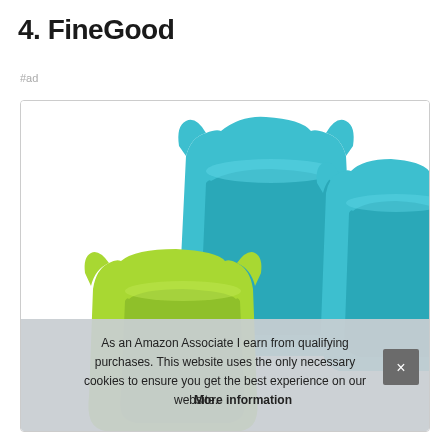4. FineGood
#ad
[Figure (photo): Product photo of FineGood silicone caddy/holder in teal/blue and lime green colors, shown on white background inside a bordered box]
As an Amazon Associate I earn from qualifying purchases. This website uses the only necessary cookies to ensure you get the best experience on our website. More information